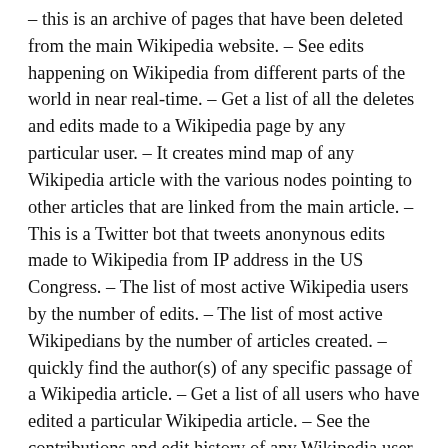– this is an archive of pages that have been deleted from the main Wikipedia website. – See edits happening on Wikipedia from different parts of the world in near real-time. – Get a list of all the deletes and edits made to a Wikipedia page by any particular user. – It creates mind map of any Wikipedia article with the various nodes pointing to other articles that are linked from the main article. – This is a Twitter bot that tweets anonynous edits made to Wikipedia from IP address in the US Congress. – The list of most active Wikipedia users by the number of edits. – The list of most active Wikipedians by the number of articles created. – quickly find the author(s) of any specific passage of a Wikipedia article. – Get a list of all users who have edited a particular Wikipedia article. – See the contributions and edit history of any Wikipedia user. – Visualize the current editing activity on Wikipedia in realtime.
Q: I want to contribute to Wikipedia but the Wiki syntax is confusing. A: You can write a document inside Microsoft Word and then use this extension to convert the